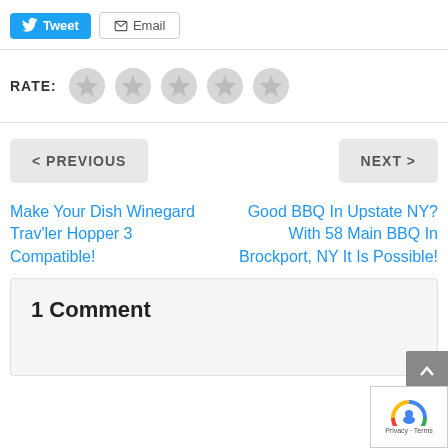[Figure (screenshot): Tweet button (blue) and Email button (outlined) social sharing buttons]
[Figure (other): Rate section with 5 empty star rating circles]
[Figure (other): Previous and Next navigation buttons]
Make Your Dish Winegard Trav'ler Hopper 3 Compatible!
Good BBQ In Upstate NY? With 58 Main BBQ In Brockport, NY It Is Possible!
1 Comment
[Figure (other): reCAPTCHA badge with Privacy and Terms links]